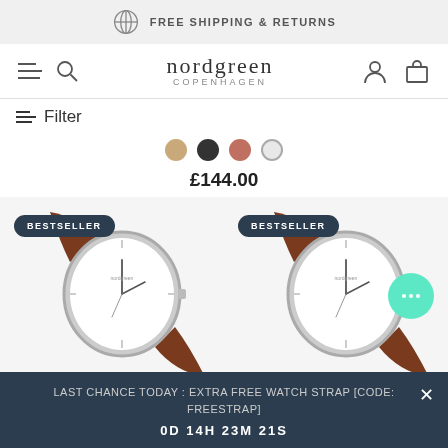FREE SHIPPING & RETURNS
[Figure (logo): Nordgreen Copenhagen logo with navigation icons (hamburger menu, search, user, cart)]
Filter
[Figure (other): Four color swatches: tan/beige, dark/black, rose gold, silver (selected)]
£144.00
[Figure (photo): Two watch product photos with BESTSELLER badges, showing minimalist Nordgreen watches with brown leather straps and white dials]
LAST CHANCE TODAY : EXTRA FREE WATCH STRAP [CODE: FREESTRAP]
0D 14H 23M 21S